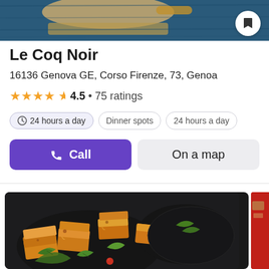[Figure (photo): Top portion of a wooden cutting board on a blue wooden table surface, partially cropped]
Le Coq Noir
16136 Genova GE, Corso Firenze, 73, Genoa
★★★★½  4.5 • 75 ratings
24 hours a day
Dinner spots
24 hours a day
Call
On a map
[Figure (photo): Food photo showing baked pastry/quiche pieces on a dark plate with arugula salad leaves, and a second plate partially visible in background; partial red image on far right edge]